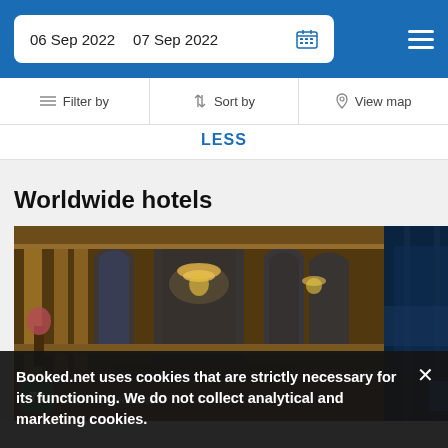06 Sep 2022  07 Sep 2022
Filter by  Sort by  View map
LESS
Worldwide hotels
[Figure (photo): Grand hotel lobby interior with ornate golden architecture, arched windows, chandeliers, and dining area]
Hotel
Hilton Opera Paris
Booked.net uses cookies that are strictly necessary for its functioning. We do not collect analytical and marketing cookies.